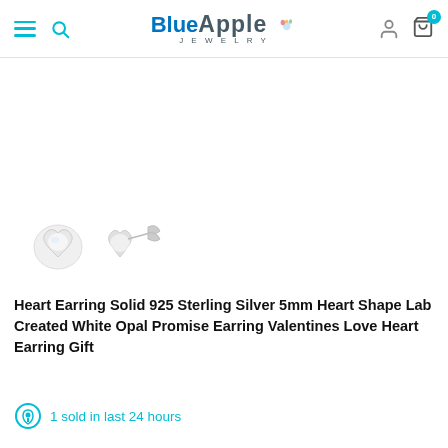Blue Apple Jewelry — navigation header with menu, search, logo, account, and cart icons
[Figure (photo): Small heart-shaped stud earrings in sterling silver, shown as two views: front flat view and angled side view with butterfly backing. The earrings appear white/silver colored.]
Heart Earring Solid 925 Sterling Silver 5mm Heart Shape Lab Created White Opal Promise Earring Valentines Love Heart Earring Gift
1 sold in last 24 hours